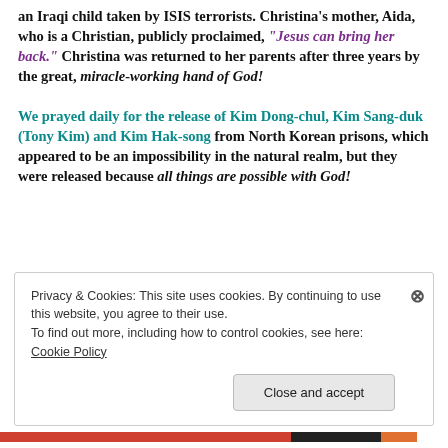an Iraqi child taken by ISIS terrorists. Christina's mother, Aida, who is a Christian, publicly proclaimed, "Jesus can bring her back." Christina was returned to her parents after three years by the great, miracle-working hand of God!
We prayed daily for the release of Kim Dong-chul, Kim Sang-duk (Tony Kim) and Kim Hak-song from North Korean prisons, which appeared to be an impossibility in the natural realm, but they were released because all things are possible with God!
Privacy & Cookies: This site uses cookies. By continuing to use this website, you agree to their use. To find out more, including how to control cookies, see here: Cookie Policy